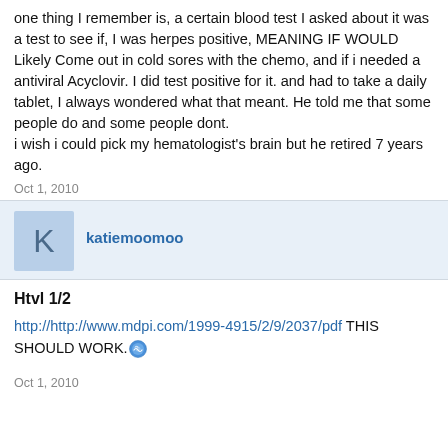one thing I remember is, a certain blood test I asked about it was a test to see if, I was herpes positive, MEANING IF WOULD Likely Come out in cold sores with the chemo, and if i needed a antiviral Acyclovir. I did test positive for it. and had to take a daily tablet, I always wondered what that meant. He told me that some people do and some people dont.
i wish i could pick my hematologist's brain but he retired 7 years ago.
Oct 1, 2010
katiemoomoo
Htvl 1/2
http://http://www.mdpi.com/1999-4915/2/9/2037/pdf THIS SHOULD WORK.
Oct 1, 2010